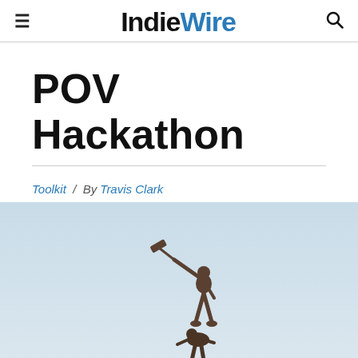IndieWire
POV Hackathon
Toolkit / By Travis Clark
[Figure (photo): Bronze statue silhouetted against a light blue sky, depicting a figure standing and raising a sledgehammer overhead toward a crouching figure below]